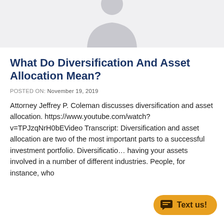[Figure (illustration): Gray background banner with a person silhouette graphic at top center]
What Do Diversification And Asset Allocation Mean?
POSTED ON: November 19, 2019
Attorney Jeffrey P. Coleman discusses diversification and asset allocation. https://www.youtube.com/watch?v=TPJzqNrH0bEVideo Transcript: Diversification and asset allocation are two of the most important parts to a successful investment portfolio. Diversification having your assets involved in a number of different industries. People, for instance, who